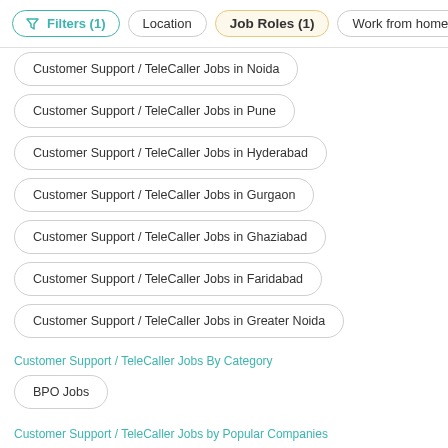Filters (1)  Location  Job Roles (1)  Work from home »
Customer Support / TeleCaller Jobs in Noida
Customer Support / TeleCaller Jobs in Pune
Customer Support / TeleCaller Jobs in Hyderabad
Customer Support / TeleCaller Jobs in Gurgaon
Customer Support / TeleCaller Jobs in Ghaziabad
Customer Support / TeleCaller Jobs in Faridabad
Customer Support / TeleCaller Jobs in Greater Noida
Customer Support / TeleCaller Jobs By Category
BPO Jobs
Customer Support / TeleCaller Jobs by Popular Companies